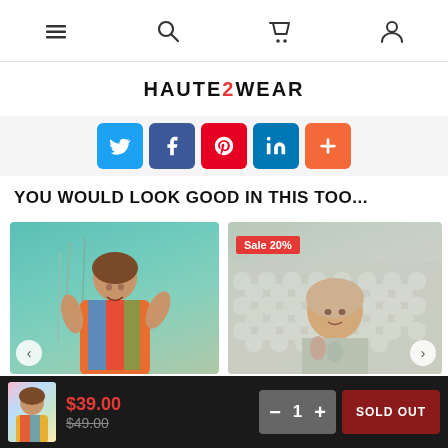Navigation bar with menu, search, cart, and account icons
HAUTE2WEAR
[Figure (infographic): Social share buttons: Twitter (blue), Facebook (dark blue), Pinterest (red), LinkedIn (blue), More (orange/red)]
YOU WOULD LOOK GOOD IN THIS TOO...
[Figure (photo): Woman in colorful floral outfit in front of teal/green background]
[Figure (photo): Woman in floral/patterned outfit in front of white lattice wall, with Sale 20% badge]
$39.00
$49.00
SOLD OUT